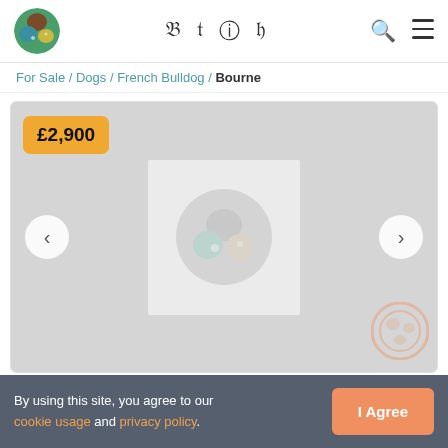[Figure (logo): Pet listing website circular logo with cat, dog, and rabbit icons on green background]
f  y  ☉  P  🔍  ≡
For Sale / Dogs / French Bulldog / Bourne
[Figure (photo): Image carousel placeholder showing a grey area with a centered pet logo placeholder. Price badge showing £2,900 in top-left. Navigation arrows on left and right sides. Watermark logo in bottom-right corner.]
By using this site, you agree to our cookie usage and privacy policy.